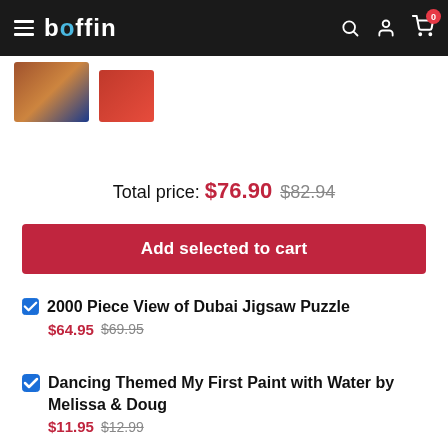boffin
[Figure (photo): Product thumbnail images strip at top of page]
Total price: $76.90 $82.94
Add selected to cart
2000 Piece View of Dubai Jigsaw Puzzle $64.95 $69.95
Dancing Themed My First Paint with Water by Melissa & Doug $11.95 $12.99